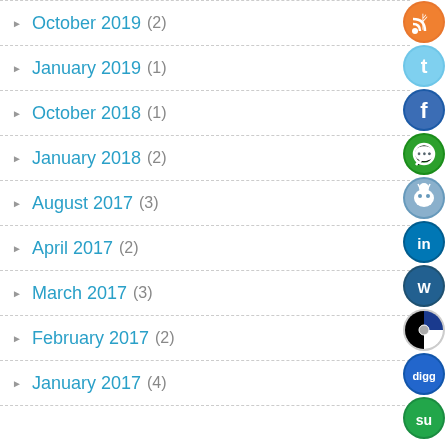October 2019 (2)
January 2019 (1)
October 2018 (1)
January 2018 (2)
August 2017 (3)
April 2017 (2)
March 2017 (3)
February 2017 (2)
January 2017 (4)